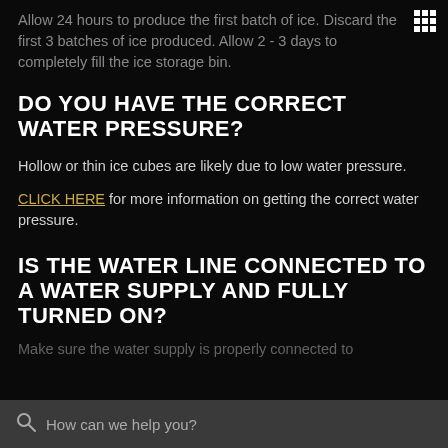Allow 24 hours to produce the first batch of ice. Discard the first 3 batches of ice produced. Allow 2 - 3 days to completely fill the ice storage bin.
DO YOU HAVE THE CORRECT WATER PRESSURE?
Hollow or thin ice cubes are likely due to low water pressure.
CLICK HERE for more information on getting the correct water pressure.
IS THE WATER LINE CONNECTED TO A WATER SUPPLY AND FULLY TURNED ON?
Make sure the water supply is properly connected to
How can we help you?